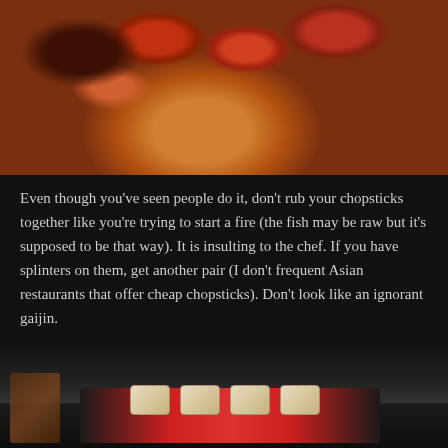[Figure (photo): Close-up photo of a sushi-patterned item (likely a menu or placemat) with bold red, orange, and brown tones. A hand is partially visible in the upper right corner. The image has a warm, saturated color palette.]
Even though you've seen people do it, don't rub your chopsticks together like you're trying to start a fire (the fish may be raw but it's supposed to be that way). It is insulting to the chef. If you have splinters on them, get another pair (I don't frequent Asian restaurants that offer cheap chopsticks). Don't look like an ignorant gaijin.
[Figure (photo): Photo of sushi pieces arranged on a dark surface/plate in a dimly lit restaurant setting. The sushi appears to be topped with light-colored ingredients. The bottom portion of the image is cut off.]